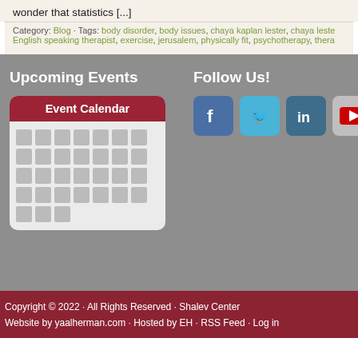wonder that statistics [...]
Category: Blog · Tags: body disorder, body issues, chaya kaplan lester, chaya leste, English speaking therapist, exercise, jerusalem, physically fit, psychotherapy, thera
Upcoming Events
[Figure (illustration): Event Calendar widget showing a calendar icon with red header reading 'Event Calendar' and grey grid cells representing calendar days]
Follow Us!
[Figure (illustration): Social media icons: Facebook (blue), Twitter (light blue), LinkedIn (teal), YouTube (grey)]
Copyright © 2022 · All Rights Reserved · Shalev Center Website by yaalherman.com · Hosted by EH · RSS Feed · Log in